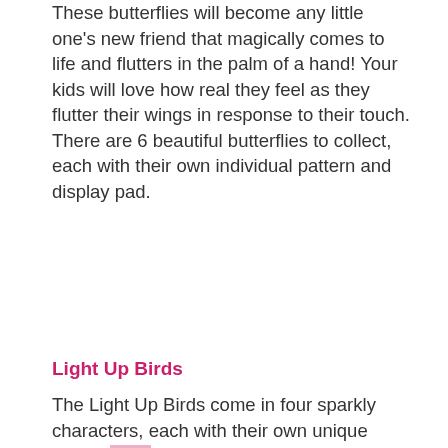These butterflies will become any little one's new friend that magically comes to life and flutters in the palm of a hand! Your kids will love how real they feel as they flutter their wings in response to their touch. There are 6 beautiful butterflies to collect, each with their own individual pattern and display pad.
Light Up Birds
The Light Up Birds come in four sparkly characters, each with their own unique pattern and personality. The more kids...